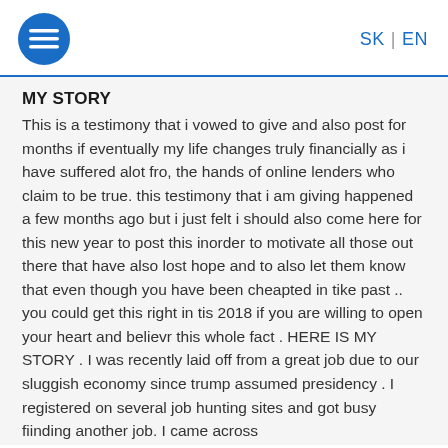SK | EN
MY STORY
This is a testimony that i vowed to give and also post for months if eventually my life changes truly financially as i have suffered alot fro, the hands of online lenders who claim to be true. this testimony that i am giving happened a few months ago but i just felt i should also come here for this new year to post this inorder to motivate all those out there that have also lost hope and to also let them know that even though you have been cheapted in tike past .. you could get this right in tis 2018 if you are willing to open your heart and believr this whole fact . HERE IS MY STORY . I was recently laid off from a great job due to our sluggish economy since trump assumed presidency . I registered on several job hunting sites and got busy fiinding another job. I came across